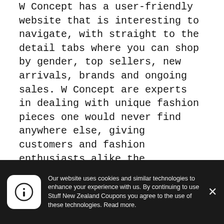W Concept has a user-friendly website that is interesting to navigate, with straight to the detail tabs where you can shop by gender, top sellers, new arrivals, brands and ongoing sales. W Concept are experts in dealing with unique fashion pieces one would never find anywhere else, giving customers and fashion enthusiasts alike the opportunity to make personalised fashion statements.
Here at Stuff New Zealand Coupons we search and collect all the latest money-saving coupon codes, promotional codes, discount codes and deals for W Concept we can find.
Leaving no stone unturned the team here at
Our website uses cookies and similar technologies to enhance your experience with us. By continuing to use Stuff New Zealand Coupons you agree to the use of these technologies. Read more.